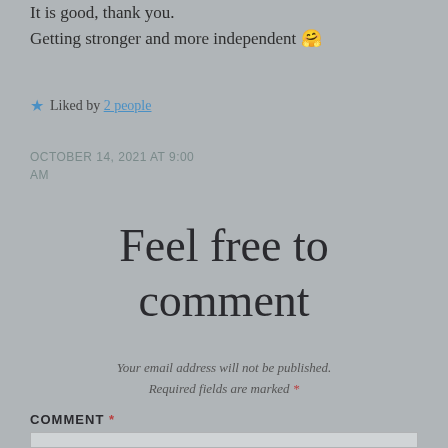It is good, thank you. Getting stronger and more independent 🤗
★ Liked by 2 people
OCTOBER 14, 2021 AT 9:00 AM
Feel free to comment
Your email address will not be published. Required fields are marked *
COMMENT *